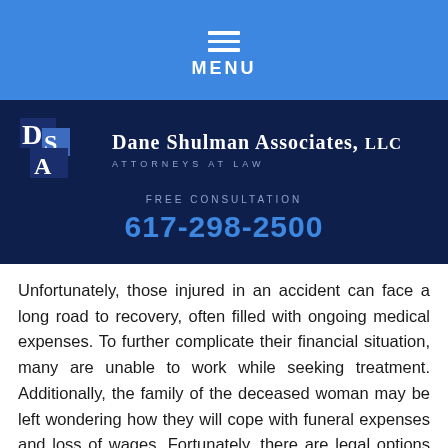MENU
[Figure (logo): Dane Shulman Associates, LLC logo with DSA initials on dark navy background]
FREE CONSULTATION
617-298-2500
Unfortunately, those injured in an accident can face a long road to recovery, often filled with ongoing medical expenses. To further complicate their financial situation, many are unable to work while seeking treatment. Additionally, the family of the deceased woman may be left wondering how they will cope with funeral expenses and loss of wages. Fortunately, there are legal options available in Massachusetts that could lead to financial relief. If it can be proved in a civil court that the accident was caused by negligence, victims of car accidents could be awarded